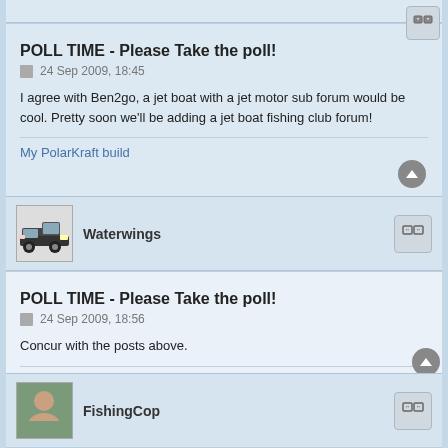POLL TIME - Please Take the poll!
24 Sep 2009, 18:45
I agree with Ben2go, a jet boat with a jet motor sub forum would be cool. Pretty soon we'll be adding a jet boat fishing club forum!
My PolarKraft build
Waterwings
POLL TIME - Please Take the poll!
24 Sep 2009, 18:56
Concur with the posts above.
1652VT RoughneckCarrot Stix LTX
FishingCop